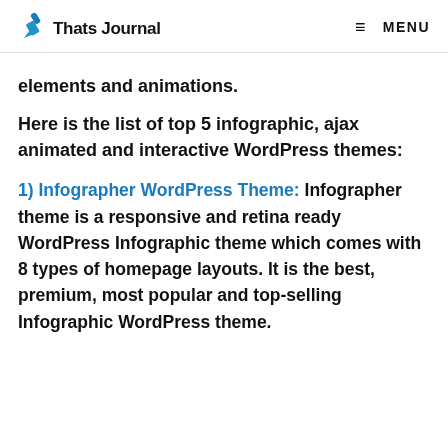Thats Journal | MENU
elements and animations.
Here is the list of top 5 infographic, ajax animated and interactive WordPress themes:
1) Infographer WordPress Theme: Infographer theme is a responsive and retina ready WordPress Infographic theme which comes with 8 types of homepage layouts. It is the best, premium, most popular and top-selling Infographic WordPress theme.